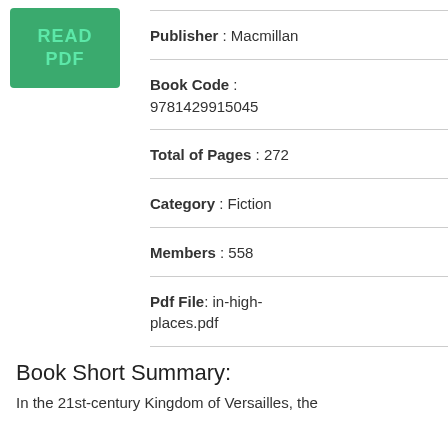[Figure (other): Green button/badge with text READ PDF]
Publisher : Macmillan
Book Code : 9781429915045
Total of Pages : 272
Category : Fiction
Members : 558
Pdf File: in-high-places.pdf
Book Short Summary:
In the 21st-century Kingdom of Versailles, the